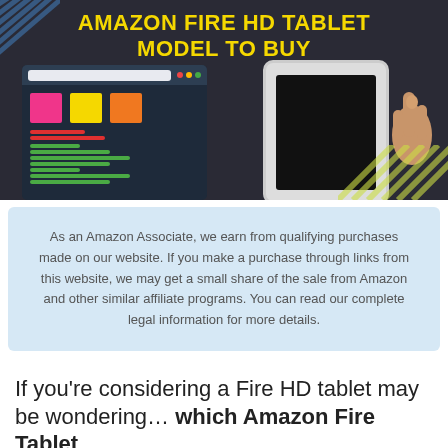[Figure (infographic): Dark background banner with yellow bold title text 'AMAZON FIRE HD TABLET MODEL TO BUY', a browser window mockup on the left showing sticky notes and colored lines, a tablet mockup on the right with a hand pointing at it, and diagonal stripe decorative elements in corners.]
As an Amazon Associate, we earn from qualifying purchases made on our website. If you make a purchase through links from this website, we may get a small share of the sale from Amazon and other similar affiliate programs. You can read our complete legal information for more details.
If you’re considering a Fire HD tablet may be wondering… which Amazon Fire Tablet